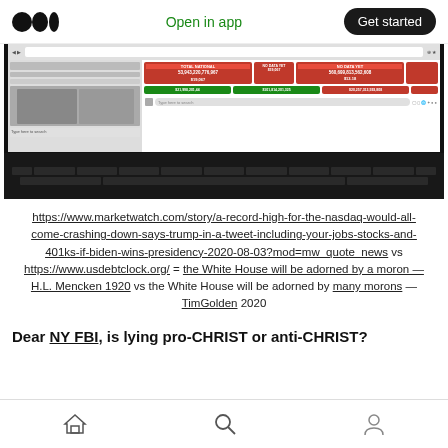Open in app | Get started
[Figure (screenshot): Screenshot of a laptop screen showing financial data with red and green boxes containing large numbers, with a dark keyboard visible below.]
https://www.marketwatch.com/story/a-record-high-for-the-nasdaq-would-all-come-crashing-down-says-trump-in-a-tweet-including-your-jobs-stocks-and-401ks-if-biden-wins-presidency-2020-08-03?mod=mw_quote_news vs https://www.usdebtclock.org/ = the White House will be adorned by a moron — H.L. Mencken 1920 vs the White House will be adorned by many morons — TimGolden 2020
Dear NY FBI, is lying pro-CHRIST or anti-CHRIST?
Home | Search | Profile